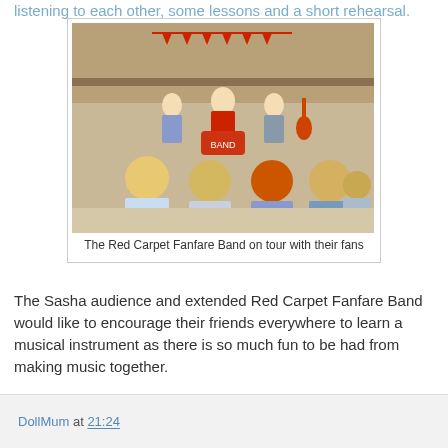listening to each other, some lessons and a short rehearsal.
[Figure (photo): Dolls arranged in a room scene — The Red Carpet Fanfare Band on tour with their fans. Multiple dolls with various hair colors and outfits, some holding instruments, standing in a semicircle.]
The Red Carpet Fanfare Band on tour with their fans
The Sasha audience and extended Red Carpet Fanfare Band would like to encourage their friends everywhere to learn a musical instrument as there is so much fun to be had from making music together.
DollMum at 21:24